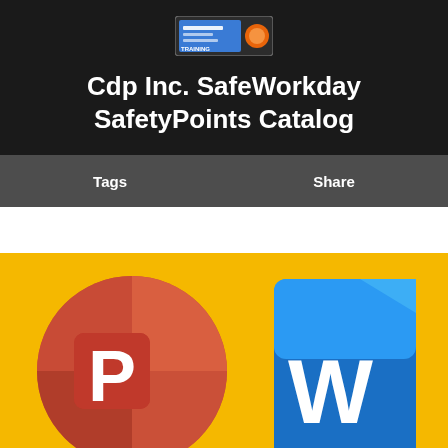[Figure (logo): Small training/safety logo icon at the top of the dark header]
Cdp Inc. SafeWorkday SafetyPoints Catalog
Tags
Share
[Figure (illustration): Yellow background section with Microsoft PowerPoint logo (red circle with white P) on the left and Microsoft Word logo (blue rounded square with W) on the right]